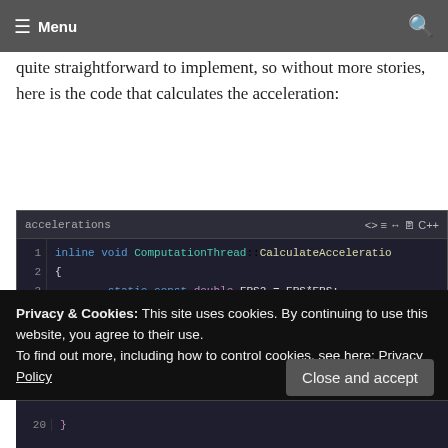Menu
Since we are not really interested in the forces, but in the change of position, we actually need the accelerations. It is quite straightforward to implement, so without more stories, here is the code that calculates the acceleration:
[Figure (screenshot): Code editor screenshot showing C++ function CalculateAcceleration with syntax highlighting. Lines 1-10 visible. Line 1: inline void ComputationThread::CalculateAcceleratio. Line 2: {. Line 3: static const double EPS2 = EPS*EPS;. Lines 5-6: Vector3D<double> r21; double length;. Lines 8-9: it->m_PrevAcceleration = it->m_Acceleration; it->m_Acceleration = Vector3D<double>(0., 0., 0]
Privacy & Cookies: This site uses cookies. By continuing to use this website, you agree to their use.
To find out more, including how to control cookies, see here: Privacy Policy
Close and accept